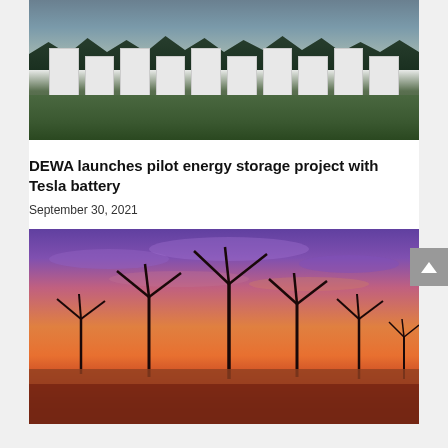[Figure (photo): Large white battery storage units arranged in a row in a grassy field with trees and overcast sky in the background]
DEWA launches pilot energy storage project with Tesla battery
September 30, 2021
[Figure (photo): Offshore wind turbines silhouetted against a dramatic purple and orange sunset sky, reflected in calm water below]